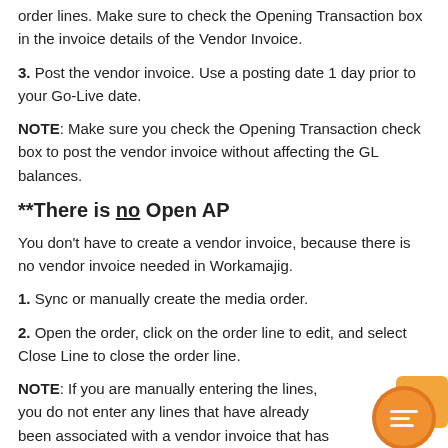order lines. Make sure to check the Opening Transaction box in the invoice details of the Vendor Invoice.
3. Post the vendor invoice. Use a posting date 1 day prior to your Go-Live date.
NOTE: Make sure you check the Opening Transaction check box to post the vendor invoice without affecting the GL balances.
**There is no Open AP
You don't have to create a vendor invoice, because there is no vendor invoice needed in Workamajig.
1. Sync or manually create the media order.
2. Open the order, click on the order line to edit, and select Close Line to close the order line.
NOTE: If you are manually entering the lines, you do not enter any lines that have already been associated with a vendor invoice that has no open AP.